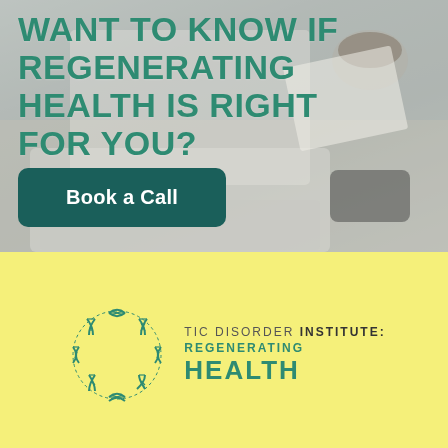WANT TO KNOW IF REGENERATING HEALTH IS RIGHT FOR YOU?
Book a Call
[Figure (logo): Tic Disorder Institute: Regenerating Health logo with DNA double-helix ring and text on yellow background]